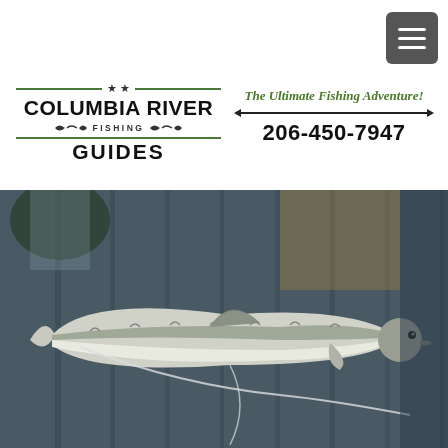[Figure (logo): Columbia River Fishing Guides logo with stars, green lines, fish icons, and text]
The Ultimate Fishing Adventure!
206-450-7947
[Figure (photo): A large fish (sturgeon) held horizontally in front of a weathered wooden dock background]